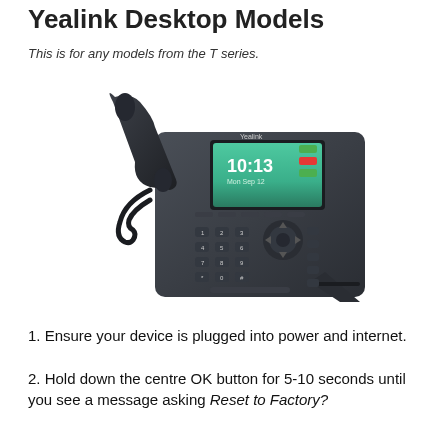Yealink Desktop Models
This is for any models from the T series.
[Figure (photo): Yealink T-series desktop IP phone with color screen showing 10:13, keypad, navigation buttons, and handset.]
1. Ensure your device is plugged into power and internet.
2. Hold down the centre OK button for 5-10 seconds until you see a message asking Reset to Factory?